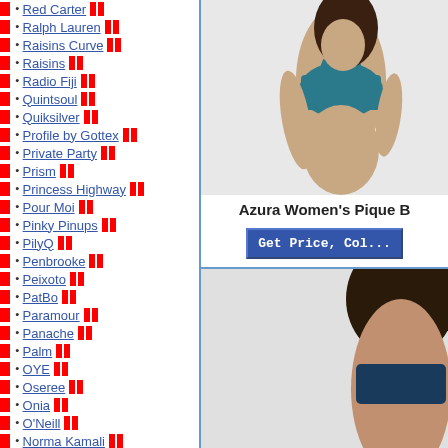Red Carter
Ralph Lauren
Raisins Curve
Raisins
Radio Fiji
Quintsoul
Quiksilver
Profile by Gottex
Private Party
Prism
Princess Highway
Pour Moi
Pinky Pinups
PilyQ
Penbrooke
Peixoto
PatBo
Paramour
Panache
Palm
OYE
Oseree
Onia
O'Neill
Norma Kamali
Nike SB
Nike
Next
Nautica
Nanette Lepore
Mymarini
Mott50
Motel
Moschino
Montce Swim
Monica Hansen
Molly J
Moeva
Modcloth
Missoni
Miss Mandalay
[Figure (photo): Woman modeling a teal/blue sports bra or bikini top. Product image for Azura Women's Pique B swimwear.]
Azura Women's Pique B
Get Price, Col...
[Figure (photo): Woman modeling swimwear, bottom portion of photo showing dark hair.]